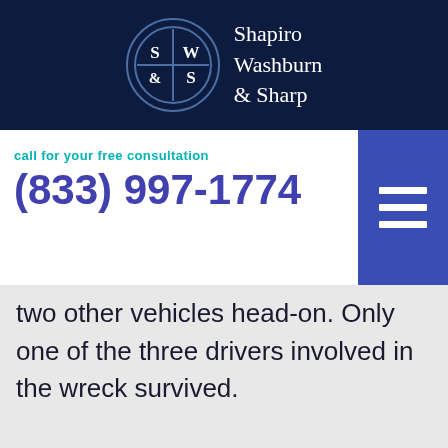[Figure (logo): Shapiro Washburn & Sharp law firm logo — circular emblem with S|W/&|S grid and firm name text]
call for your free consultation
(833) 997-1774
two other vehicles head-on. Only one of the three drivers involved in the wreck survived.